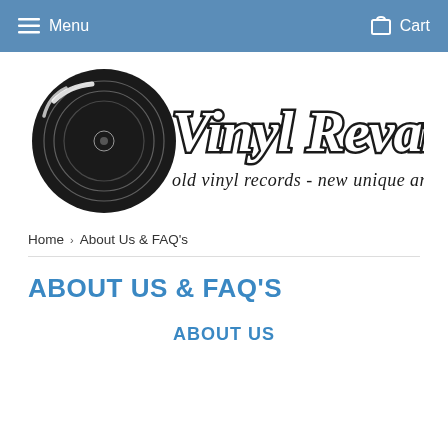Menu   Cart
[Figure (logo): Vinyl Revamp logo: black vinyl record circle with cursive white 'Vinyl Revamp' text overlaid, and tagline 'old vinyl records - new unique art' in black script below]
Home › About Us & FAQ's
ABOUT US & FAQ'S
ABOUT US